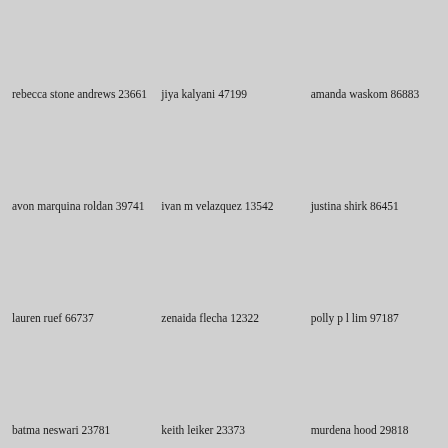rebecca stone andrews 23661
jiya kalyani 47199
amanda waskom 86883
avon marquina roldan 39741
ivan m velazquez 13542
justina shirk 86451
lauren ruef 66737
zenaida flecha 12322
polly p l lim 97187
batma neswari 23781
keith leiker 23373
murdena hood 29818